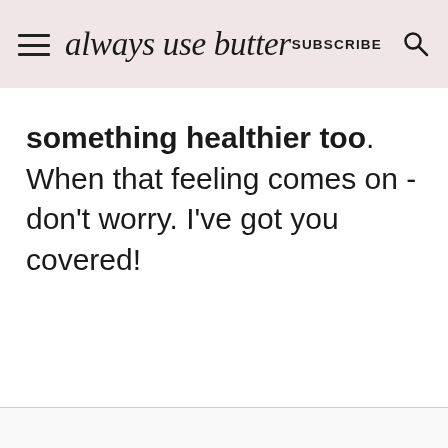always use butter | SUBSCRIBE
something healthier too. When that feeling comes on - don't worry. I've got you covered!